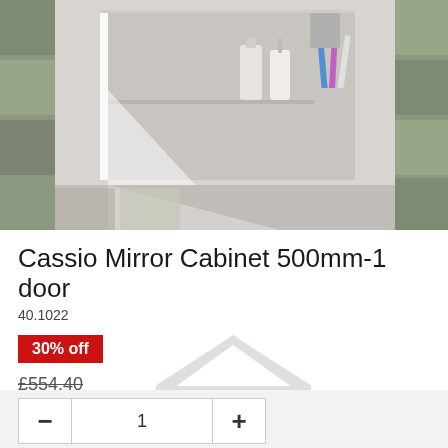[Figure (photo): Cassio Mirror Cabinet 500mm-1 door product photo showing an illuminated bathroom mirror cabinet with shelves containing toiletries, toothbrushes, and bottles against a tiled bathroom wall background.]
Cassio Mirror Cabinet 500mm-1 door
40.1022
30% off
£554.40
£388.08